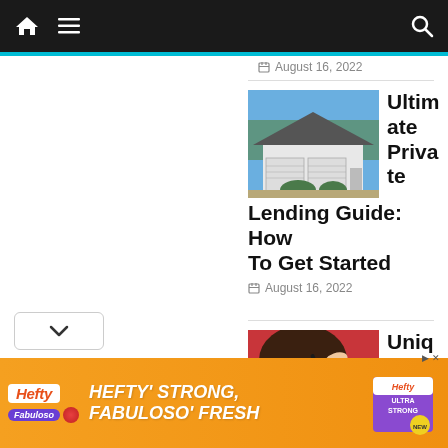Navigation bar with home icon, menu icon, and search icon
August 16, 2022
Ultimate Private Lending Guide: How To Get Started
August 16, 2022
[Figure (photo): Photo of a suburban single-story home with white garage doors and gray roof]
Unique Rewards of Custom Mascara
[Figure (photo): Photo of a young woman applying mascara against a red background]
[Figure (infographic): Hefty advertisement banner: HEFTY STRONG, FABULOSO FRESH with Hefty and Fabuloso logos]